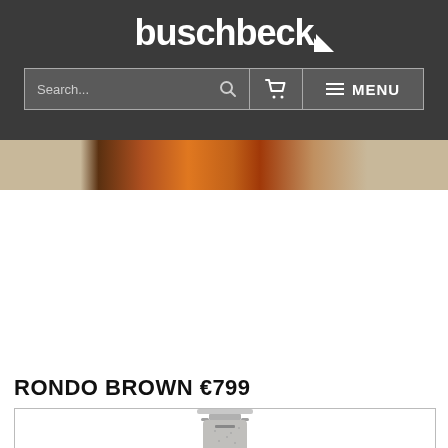buschbeck
[Figure (screenshot): Navigation bar with search field, cart icon, and MENU button on dark background]
[Figure (photo): Partial hero image showing flames and stone/concrete texture]
RONDO BROWN €799
[Figure (photo): Product image of Rondo Brown fire pit/chiminea in grey textured stone, cylindrical shape with top cap, partial view]